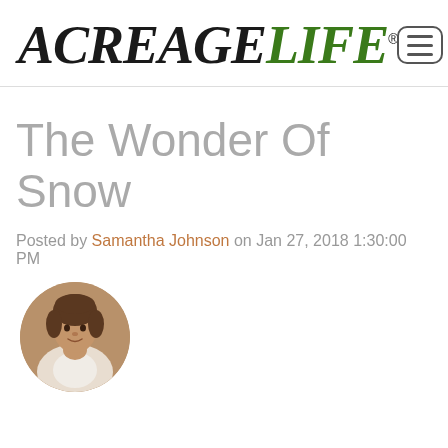[Figure (logo): Acreage Life logo in italic serif font, 'ACREAGE' in black and 'LIFE' in green, with a registered trademark symbol]
[Figure (other): Hamburger menu button icon with three horizontal lines inside a rounded rectangle border]
The Wonder Of Snow
Posted by Samantha Johnson on Jan 27, 2018 1:30:00 PM
[Figure (photo): Circular cropped author photo of Samantha Johnson]